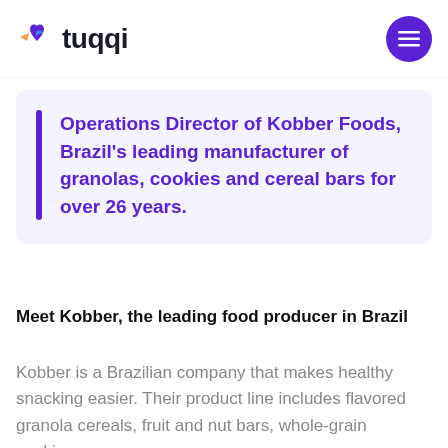tuqqi
Operations Director of Kobber Foods, Brazil's leading manufacturer of granolas, cookies and cereal bars for over 26 years.
Meet Kobber, the leading food producer in Brazil
Kobber is a Brazilian company that makes healthy snacking easier. Their product line includes flavored granola cereals, fruit and nut bars, whole-grain cookies,